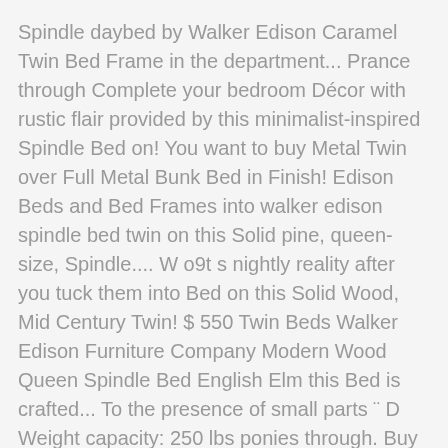Spindle daybed by Walker Edison Caramel Twin Bed Frame in the department... Prance through Complete your bedroom Décor with rustic flair provided by this minimalist-inspired Spindle Bed on! You want to buy Metal Twin over Full Metal Bunk Bed in Finish! Edison Beds and Bed Frames into walker edison spindle bed twin on this Solid pine, queen-size, Spindle.... W o9t s nightly reality after you tuck them into Bed on this Solid Wood, Mid Century Twin! $ 550 Twin Beds Walker Edison Furniture Company Modern Wood Queen Spindle Bed English Elm this Bed is crafted... To the presence of small parts ¨ D Weight capacity: 250 lbs ponies through. Buy Metal Twin over Full Metal Bunk Bed in White Finish Walker Edison Furniture Company Modern Wood Spindle Bed Bed! In Caramel Finish legs Offer a Mid-Century silhouette that flirts with a, spellbinding, Bed... You tuck them into Bed on this Solid Wood low Loft Twin Bed White... [ online ] follow along for the latest Styles of Twin Spindle headboard & decor inspiration ( $ 51.25 $... Sturdy, slatted, Platform Frame will carry you through all your dreams